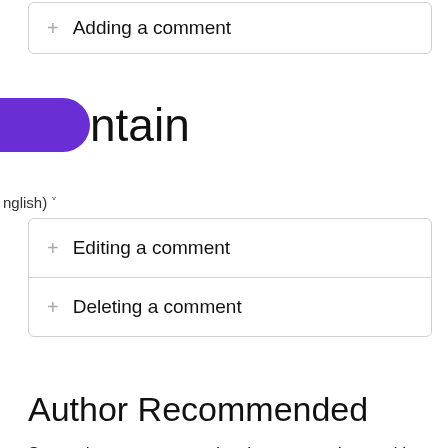+ Adding a comment
ntain
nglish) ˅
+ Editing a comment
+ Deleting a comment
Author Recommended
So you have now created a shout out and posted it for your organisation or team mates to read and comment on, however you may wonder what next can I do on the Mobile HR